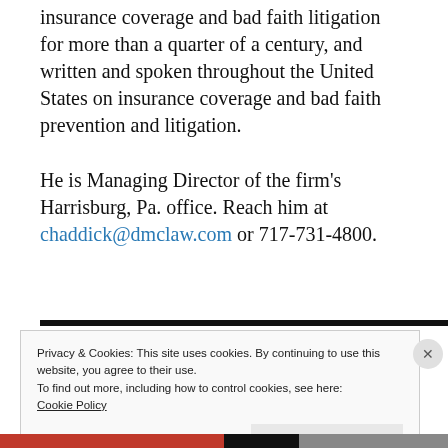insurance coverage and bad faith litigation for more than a quarter of a century, and written and spoken throughout the United States on insurance coverage and bad faith prevention and litigation.
He is Managing Director of the firm's Harrisburg, Pa. office. Reach him at chaddick@dmclaw.com or 717-731-4800.
Privacy & Cookies: This site uses cookies. By continuing to use this website, you agree to their use.
To find out more, including how to control cookies, see here:
Cookie Policy